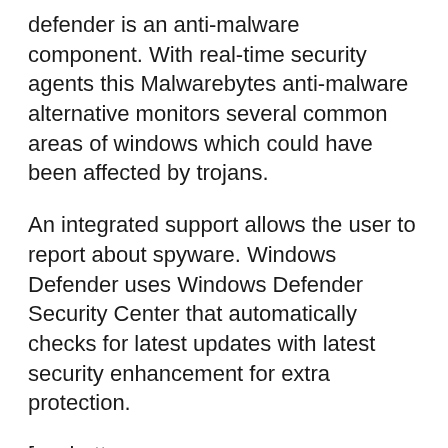defender is an anti-malware component. With real-time security agents this Malwarebytes anti-malware alternative monitors several common areas of windows which could have been affected by trojans.
An integrated support allows the user to report about spyware. Windows Defender uses Windows Defender Security Center that automatically checks for latest updates with latest security enhancement for extra protection.
[su_button url="https://www.microsoft.com/en-in/windows/comprehensive-security" target="blank" rel="nofollow noopener noreferrer" style="3d" size="8"